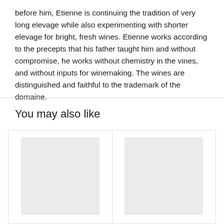before him, Etienne is continuing the tradition of very long elevage while also experimenting with shorter elevage for bright, fresh wines. Etienne works according to the precepts that his father taught him and without compromise, he works without chemistry in the vines, and without inputs for winemaking. The wines are distinguished and faithful to the trademark of the domaine.
You may also like
[Figure (other): Two product card placeholders side by side with light grey image placeholder boxes inside a bordered container]